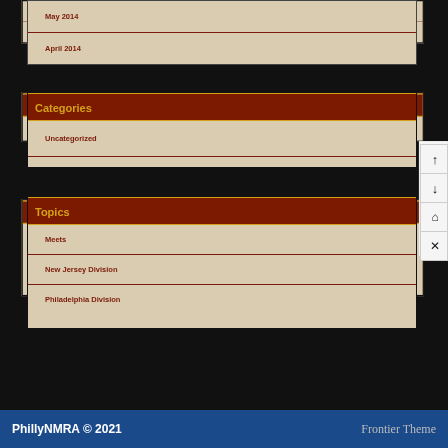May 2014
April 2014
Categories
Uncategorized
Topics
Meets
New Jersey Division
Philadelphia Division
PhillyNMRA © 2021    Frontier Theme